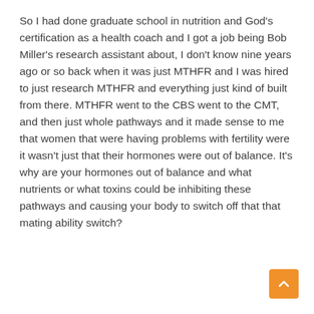So I had done graduate school in nutrition and God's certification as a health coach and I got a job being Bob Miller's research assistant about, I don't know nine years ago or so back when it was just MTHFR and I was hired to just research MTHFR and everything just kind of built from there. MTHFR went to the CBS went to the CMT, and then just whole pathways and it made sense to me that women that were having problems with fertility were it wasn't just that their hormones were out of balance. It's why are your hormones out of balance and what nutrients or what toxins could be inhibiting these pathways and causing your body to switch off that that mating ability switch?